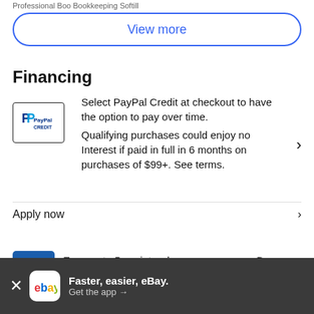Professional Boo Bookkeeping Softill
View more
Financing
Select PayPal Credit at checkout to have the option to pay over time. Qualifying purchases could enjoy no Interest if paid in full in 6 months on purchases of $99+. See terms.
Apply now
Earn up to 5x points when you use your eBay Mastercard®. Learn More
Faster, easier, eBay. Get the app →